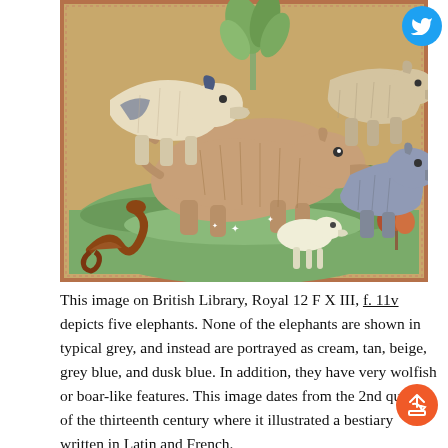[Figure (illustration): Medieval illuminated manuscript illustration showing five elephant-like creatures depicted as wolfish or boar-like animals in colors cream, tan, beige, grey blue, and dusk blue. A small white animal runs in the foreground. Green ground with decorative plants and a serpentine creature at lower left. Gold background.]
This image on British Library, Royal 12 F X III, f. 11v depicts five elephants. None of the elephants are shown in typical grey, and instead are portrayed as cream, tan, beige, grey blue, and dusk blue. In addition, they have very wolfish or boar-like features. This image dates from the 2nd quarter of the thirteenth century where it illustrated a bestiary written in Latin and French.